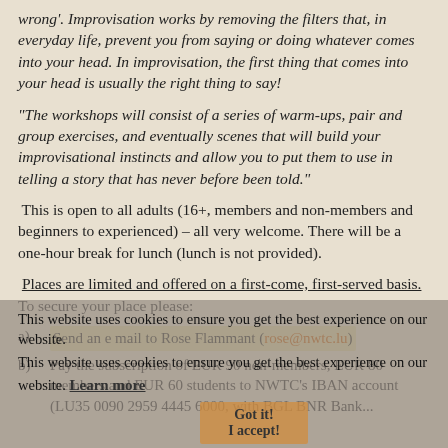wrong'. Improvisation works by removing the filters that, in everyday life, prevent you from saying or doing whatever comes into your head. In improvisation, the first thing that comes into your head is usually the right thing to say!
“The workshops will consist of a series of warm-ups, pair and group exercises, and eventually scenes that will build your improvisational instincts and allow you to put them to use in telling a story that has never before been told.”
This is open to all adults (16+, members and non-members and beginners to experienced) – all very welcome. There will be a one-hour break for lunch (lunch is not provided).
Places are limited and offered on a first-come, first-served basis. To secure your place please:
a) Send an e mail to Rose Flammant (rose@nwtc.lu)
b) Pay the subscription of EUR 90 non-members, EUR 80 members and EUR 60 students to NWTC’s IBAN account (LU35 0090 2959 4445 6000, with BGL BNR Bank...